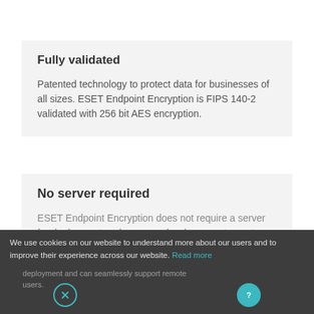Fully validated
Patented technology to protect data for businesses of all sizes. ESET Endpoint Encryption is FIPS 140-2 validated with 256 bit AES encryption.
No server required
ESET Endpoint Encryption does not require a server for deployment and can seamlessly support remote users.
We use cookies on our website to understand more about our users and to improve their experience across our website. Read more